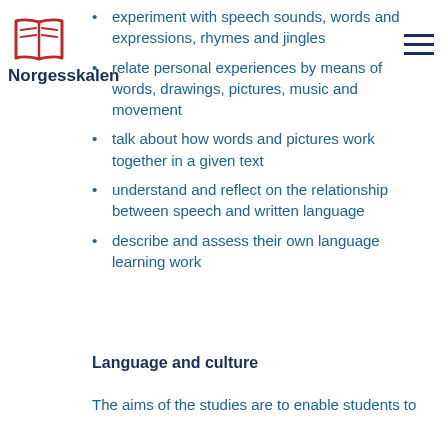[Figure (logo): Red open book logo icon]
Norgesskalen
experiment with speech sounds, words and expressions, rhymes and jingles
relate personal experiences by means of words, drawings, pictures, music and movement
talk about how words and pictures work together in a given text
understand and reflect on the relationship between speech and written language
describe and assess their own language learning work
Language and culture
The aims of the studies are to enable students to